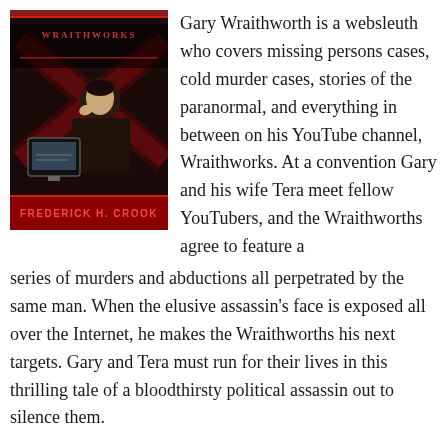[Figure (illustration): Book cover for 'Wraithworks' by Frederick H. Crook showing a dark-themed cover with a man in shadowy lighting, red and black design, title in stylized text at top, author name at bottom in red.]
Gary Wraithworth is a websleuth who covers missing persons cases, cold murder cases, stories of the paranormal, and everything in between on his YouTube channel, Wraithworks. At a convention Gary and his wife Tera meet fellow YouTubers, and the Wraithworths agree to feature a series of murders and abductions all perpetrated by the same man. When the elusive assassin's face is exposed all over the Internet, he makes the Wraithworths his next targets. Gary and Tera must run for their lives in this thrilling tale of a bloodthirsty political assassin out to silence them.
Wraithworks is available on Amazon as an ebook.